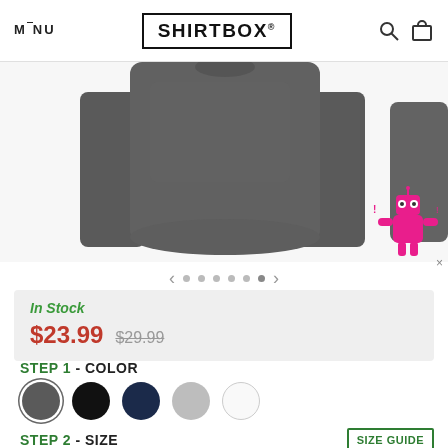MENU | SHIRTBOX® | [search icon] [cart icon]
[Figure (photo): Dark gray long-sleeve shirt displayed from the back/bottom, showing torso and sleeves on a white/light background]
< · · · · · >
In Stock
$23.99  $29.99
STEP 1 - COLOR
[Figure (illustration): Five color swatches: dark gray (selected), black, navy, light gray, white]
STEP 2 - SIZE